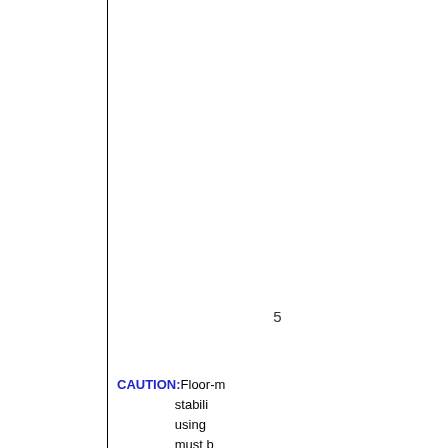5
CAUTION: Floor-m stabili using must b